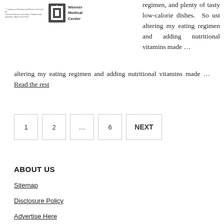[Figure (logo): Ohio State Wexner Medical Center logo with small academy text]
regimen, and plenty of tasty low-calorie dishes. So ust altering my eating regimen and adding nutritional vitamins made … Read the rest
1  2  …  6  NEXT
ABOUT US
Sitemap
Disclosure Policy
Advertise Here